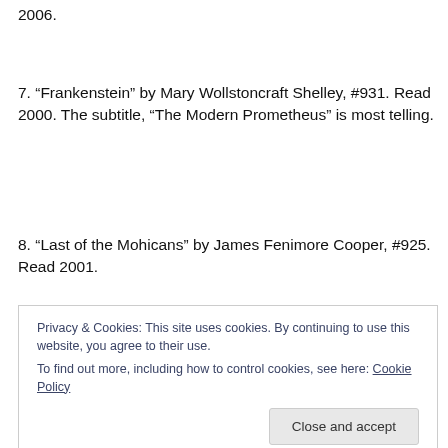2006.
7. “Frankenstein” by Mary Wollstoncraft Shelley, #931. Read 2000. The subtitle, “The Modern Prometheus” is most telling.
8. “Last of the Mohicans” by James Fenimore Cooper, #925. Read 2001.
Privacy & Cookies: This site uses cookies. By continuing to use this website, you agree to their use.
To find out more, including how to control cookies, see here: Cookie Policy
Close and accept